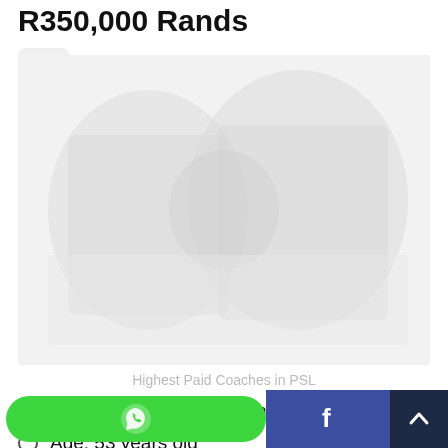R350,000 Rands
[Figure (photo): Faded/watermarked image showing Highest Paid Coaches in PSL]
Highest Paid Coaches in PSL
Club: Mamelodi Sundowns F.C.
Age: 53 years old